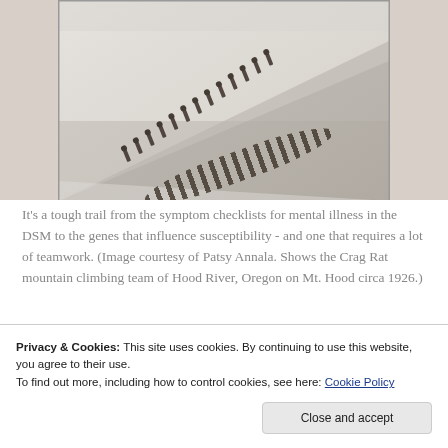[Figure (photo): Black and white photograph of the Crag Rat mountain climbing team ascending a snowy slope on Mt. Hood, circa 1926. A line of climbers is visible on the diagonal snowy mountainside.]
It's a tough trail from the symptom checklists for mental illness in the DSM to the genes that influence susceptibility - and one that requires a lot of teamwork. (Image courtesy of Patsy Annala. Shows the Crag Rat mountain climbing team of Hood River, Oregon on Mt. Hood circa 1926.)
Privacy & Cookies: This site uses cookies. By continuing to use this website, you agree to their use.
To find out more, including how to control cookies, see here: Cookie Policy